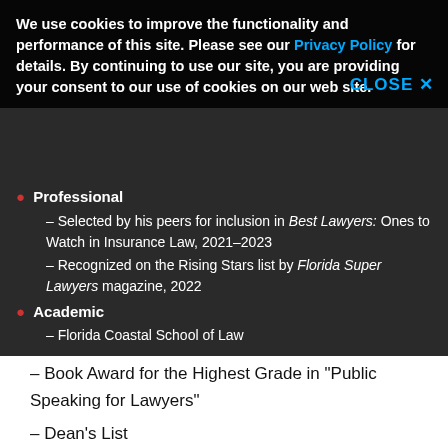Professional
– Selected by his peers for inclusion in Best Lawyers: Ones to Watch in Insurance Law, 2021-2023
– Recognized on the Rising Stars list by Florida Super Lawyers magazine, 2022
Academic
– Florida Coastal School of Law
– Book Award for the Highest Grade in "Public Speaking for Lawyers"
– Dean's List
– Dean's Scholar
We use cookies to improve the functionality and performance of this site. Please see our Privacy Policy for details. By continuing to use our site, you are providing your consent to our use of cookies on our web site.
Home   Privacy Policy   Disclaimer   Site Map   Attorney Advertising
© 2022 Hinshaw & Culbertson LLP
Site by Firmseek
View Full Site